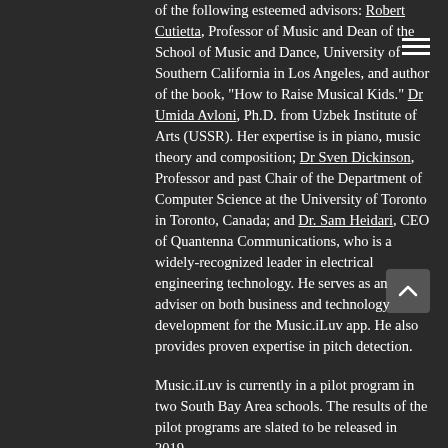of the following esteemed advisors: Robert Cutietta, Professor of Music and Dean of the School of Music and Dance, University of Southern California in Los Angeles, and author of the book, "How to Raise Musical Kids." Dr Umida Avloni, Ph.D. from Uzbek Institute of Arts (USSR). Her expertise is in piano, music theory and composition; Dr Sven Dickinson, Professor and past Chair of the Department of Computer Science at the University of Toronto in Toronto, Canada; and Dr. Sam Heidari, CEO of Quantenna Communications, who is a widely-recognized leader in electrical engineering technology. He serves as an adviser on both business and technology development for the Music.iLuv app. He also provides proven expertise in pitch detection.
Music.iLuv is currently in a pilot program in two South Bay Area schools. The results of the pilot programs are slated to be released in 2019.
Animation promo: Video here.